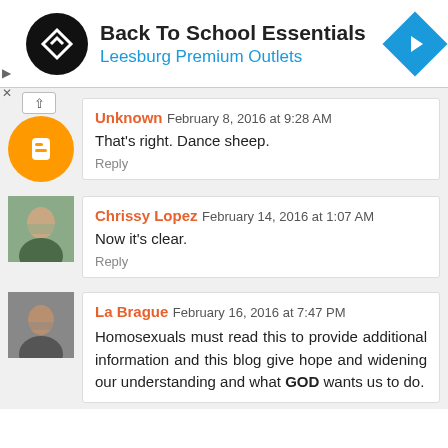[Figure (screenshot): Ad banner: Back To School Essentials, Leesburg Premium Outlets with blogger-style logo and navigation icon]
Unknown  February 8, 2016 at 9:28 AM
That's right. Dance sheep.
Reply
Chrissy Lopez  February 14, 2016 at 1:07 AM
Now it's clear.
Reply
La Brague  February 16, 2016 at 7:47 PM
Homosexuals must read this to provide additional information and this blog give hope and widening our understanding and what GOD wants us to do.